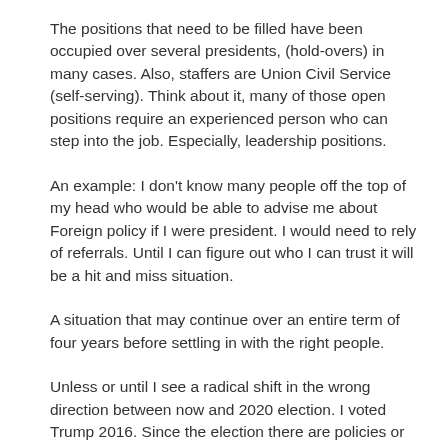The positions that need to be filled have been occupied over several presidents, (hold-overs) in many cases. Also, staffers are Union Civil Service (self-serving). Think about it, many of those open positions require an experienced person who can step into the job. Especially, leadership positions.
An example: I don't know many people off the top of my head who would be able to advise me about Foreign policy if I were president. I would need to rely of referrals. Until I can figure out who I can trust it will be a hit and miss situation.
A situation that may continue over an entire term of four years before settling in with the right people.
Unless or until I see a radical shift in the wrong direction between now and 2020 election. I voted Trump 2016. Since the election there are policies or actions I agreed with and other things I did not agree with President Trump.